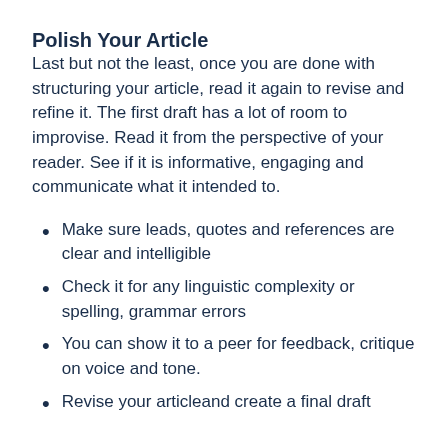Polish Your Article
Last but not the least, once you are done with structuring your article, read it again to revise and refine it. The first draft has a lot of room to improvise. Read it from the perspective of your reader. See if it is informative, engaging and communicate what it intended to.
Make sure leads, quotes and references are clear and intelligible
Check it for any linguistic complexity or spelling, grammar errors
You can show it to a peer for feedback, critique on voice and tone.
Revise your articleand create a final draft